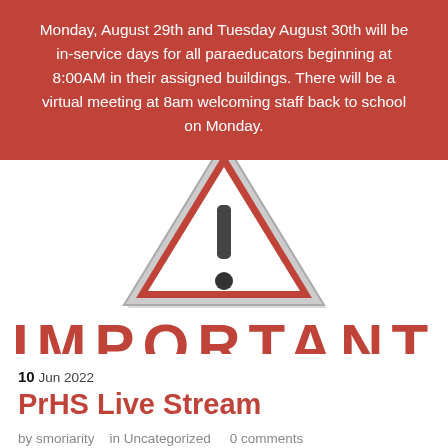Monday, August 29th and Tuesday August 30th will be in-service days for all paraeducators beginning at 8:00AM in their assigned buildings. There will be a virtual meeting at 8am welcoming staff back to school on Monday.
[Figure (illustration): Warning triangle sign with exclamation mark, red and white, with partial 'IMPORTANT' text in red below it]
10 Jun 2022
PrHS Live Stream
by smoriarity  in Uncategorized  0 comments
If you would like to watch the PrHS Graduation tomorrow,